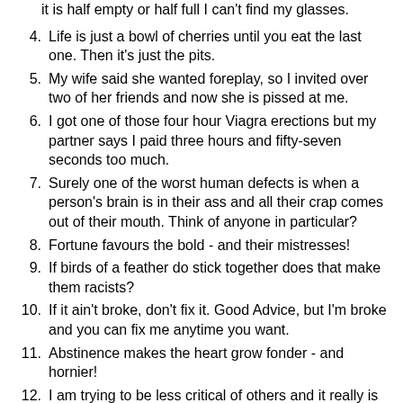(continuation) it is half empty or half full I can't find my glasses.
4. Life is just a bowl of cherries until you eat the last one. Then it's just the pits.
5. My wife said she wanted foreplay, so I invited over two of her friends and now she is pissed at me.
6. I got one of those four hour Viagra erections but my partner says I paid three hours and fifty-seven seconds too much.
7. Surely one of the worst human defects is when a person's brain is in their ass and all their crap comes out of their mouth. Think of anyone in particular?
8. Fortune favours the bold - and their mistresses!
9. If birds of a feather do stick together does that make them racists?
10. If it ain't broke, don't fix it. Good Advice, but I'm broke and you can fix me anytime you want.
11. Abstinence makes the heart grow fonder - and hornier!
12. I am trying to be less critical of others and it really is helping me realize how stupid some people are.
13. People who live in White Houses should not throw